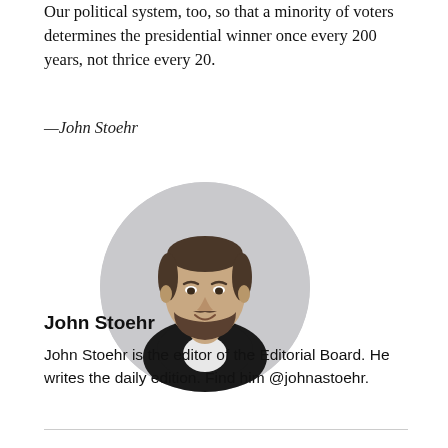Our political system, too, so that a minority of voters determines the presidential winner once every 200 years, not thrice every 20.
—John Stoehr
[Figure (photo): Circular headshot photo of John Stoehr, a man with short dark hair and a beard, wearing a dark jacket, smiling, against a light grey background.]
John Stoehr
John Stoehr is the editor of the Editorial Board. He writes the daily edition. Find him @johnastoehr.